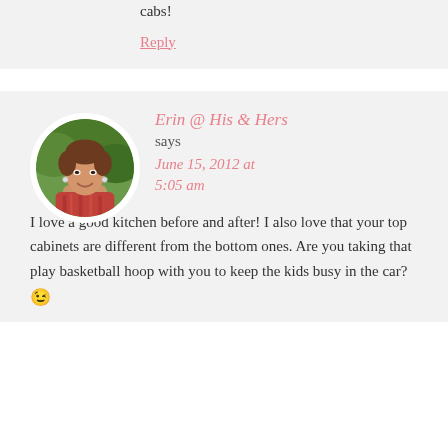cabs!
Reply
Erin @ His & Hers
says
June 15, 2012 at 5:05 am
[Figure (photo): Circular avatar photo of a smiling woman with short brown hair wearing a red patterned top, set against a green leafy background.]
I love a good kitchen before and after! I also love that your top cabinets are different from the bottom ones. Are you taking that play basketball hoop with you to keep the kids busy in the car? 😉